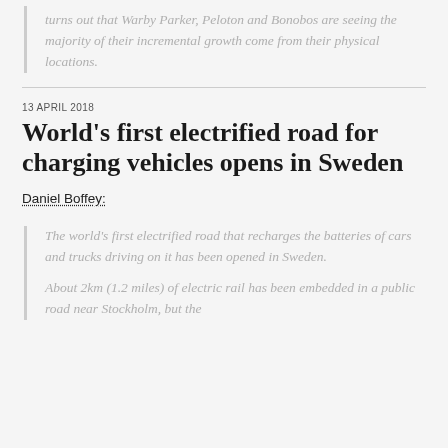turns out that Warby Parker, Peloton and Bonobos are seeing the majority of their incremental growth come from their physical locations.
13 APRIL 2018
World's first electrified road for charging vehicles opens in Sweden
Daniel Boffey:
The world's first electrified road that recharges the batteries of cars and trucks driving on it has been opened in Sweden.
About 2km (1.2 miles) of electric rail has been embedded in a public road near Stockholm, but the